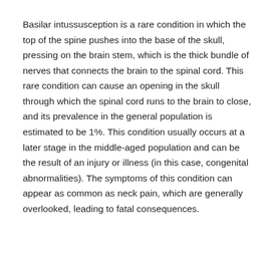Basilar intussusception is a rare condition in which the top of the spine pushes into the base of the skull, pressing on the brain stem, which is the thick bundle of nerves that connects the brain to the spinal cord. This rare condition can cause an opening in the skull through which the spinal cord runs to the brain to close, and its prevalence in the general population is estimated to be 1%. This condition usually occurs at a later stage in the middle-aged population and can be the result of an injury or illness (in this case, congenital abnormalities). The symptoms of this condition can appear as common as neck pain, which are generally overlooked, leading to fatal consequences.